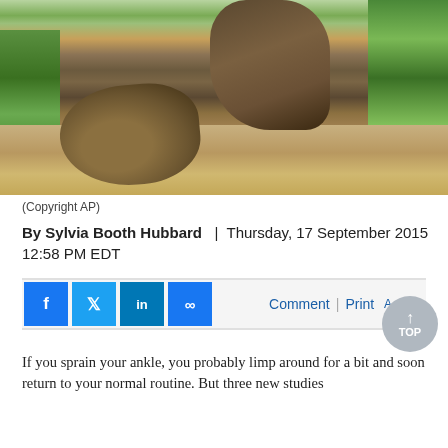[Figure (photo): Close-up photo of hiking boots/shoes on a dirt path with grass on the sides, viewed from behind at ground level.]
(Copyright AP)
By Sylvia Booth Hubbard   |   Thursday, 17 September 2015 12:58 PM EDT
Comment | Print  A A
If you sprain your ankle, you probably limp around for a bit and soon return to your normal routine. But three new studies